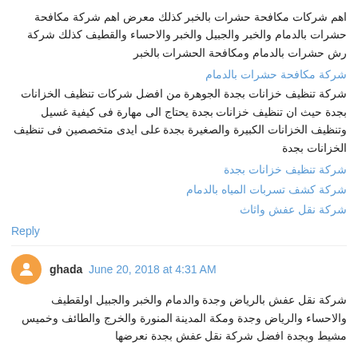اهم شركات مكافحة حشرات بالخبر كذلك معرض اهم شركة مكافحة حشرات بالدمام والخبر والجبيل والخبر والاحساء والقطيف كذلك شركة رش حشرات بالدمام ومكافحة الحشرات بالخبر
شركة مكافحة حشرات بالدمام
شركة تنظيف خزانات بجدة الجوهرة من افضل شركات تنظيف الخزانات بجدة حيث ان تنظيف خزانات بجدة يحتاج الى مهارة فى كيفية غسيل وتنظيف الخزانات الكبيرة والصغيرة بجدة على ايدى متخصصين فى تنظيف الخزانات بجدة
شركة تنظيف خزانات بجدة
شركة كشف تسربات المياه بالدمام
شركة نقل عفش واثاث
Reply
ghada June 20, 2018 at 4:31 AM
شركة نقل عفش بالرياض وجدة والدمام والخبر والجبيل اولقطيف والاحساء والرياض وجدة ومكة المدينة المنورة والخرج والطائف وخميس مشيط وبجدة افضل شركة نقل عفش بجدة نعرضها